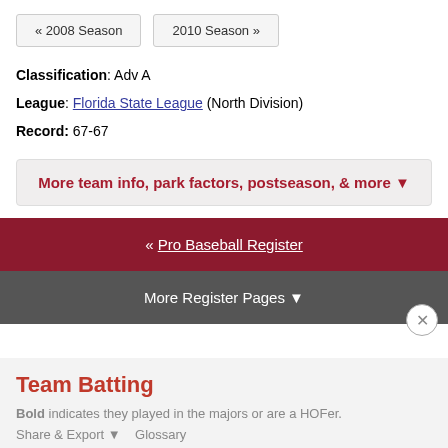« 2008 Season
2010 Season »
Classification: Adv A
League: Florida State League (North Division)
Record: 67-67
More team info, park factors, postseason, & more ▼
« Pro Baseball Register
More Register Pages ▼
Team Batting
Bold indicates they played in the majors or are a HOFer.
Share & Export ▼   Glossary